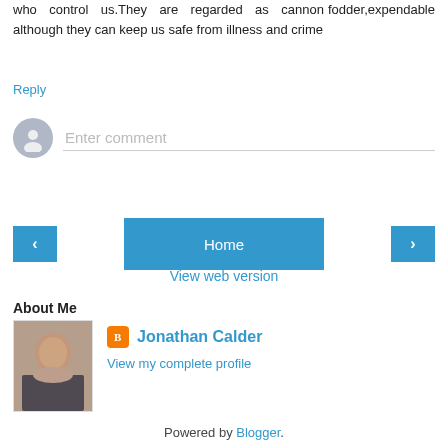who control us.They are regarded as cannon fodder,expendable although they can keep us safe from illness and crime
Reply
[Figure (other): Comment input box with user avatar placeholder and 'Enter comment' placeholder text]
[Figure (other): Navigation buttons: left arrow, Home, right arrow]
View web version
About Me
[Figure (photo): Profile photo of Jonathan Calder, a middle-aged man in a dark jacket]
Jonathan Calder
View my complete profile
Powered by Blogger.